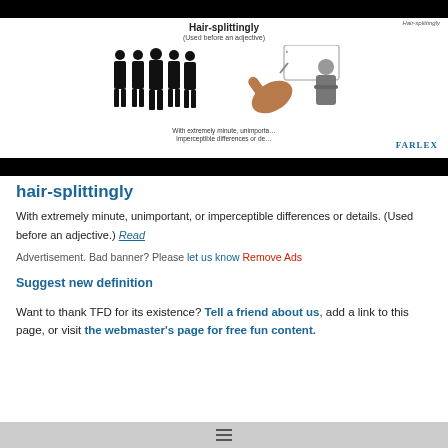[Figure (screenshot): Farlex dictionary animation screenshot showing silhouette figures and a hand writing on a whiteboard, with title 'Hair-splittingly (Used before an adjective)' and caption 'With extremely minute, unimportant, imperceptible differences or details']
hair-splittingly
With extremely minute, unimportant, or imperceptible differences or details. (Used before an adjective.) Read
Advertisement. Bad banner? Please let us know Remove Ads
Suggest new definition
Want to thank TFD for its existence? Tell a friend about us, add a link to this page, or visit the webmaster's page for free fun content.